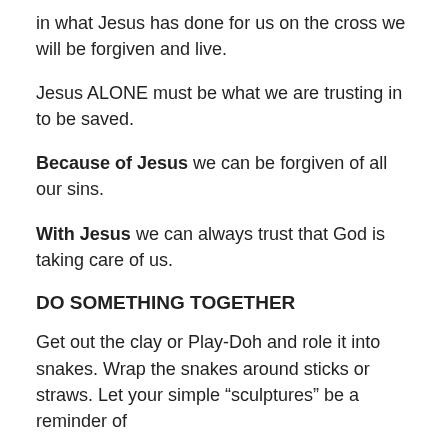in what Jesus has done for us on the cross we will be forgiven and live.
Jesus ALONE must be what we are trusting in to be saved.
Because of Jesus we can be forgiven of all our sins.
With Jesus we can always trust that God is taking care of us.
DO SOMETHING TOGETHER
Get out the clay or Play-Doh and role it into snakes. Wrap the snakes around sticks or straws. Let your simple “sculptures” be a reminder of